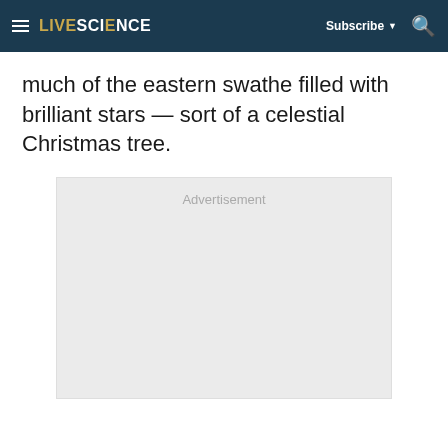LIVESCIENCE  Subscribe  🔍
much of the eastern swathe filled with brilliant stars — sort of a celestial Christmas tree.
[Figure (other): Advertisement placeholder box with gray background and 'Advertisement' label text at top center]